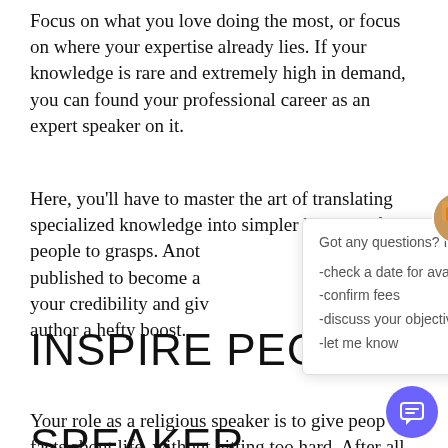Focus on what you love doing the most, or focus on where your expertise already lies. If your knowledge is rare and extremely high in demand, you can found your professional career as an expert speaker on it.
Here, you'll have to master the art of translating specialized knowledge into simpler keynotes for people to grasps. Another great idea is to get published to become an author, which will increase your credibility and give your career as a public author a hefty boost.
[Figure (screenshot): Chat popup overlay with avatar image, close button (×), intro text 'Got any questions? I'm happy to help.' and list items: '-check a date for availability', '-confirm fees', '-discuss your objectives', '-let me know'. A purple circular chat button is visible at bottom right.]
INSPIRE PEOPLE AS A RELIGIOUS SPEAKER
Your role as a religious speaker is to give people facts about life, without hitting too hard. After all,